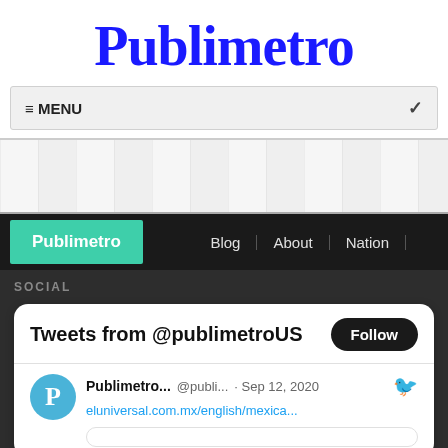Publimetro
RECENT COMMENTS
≡ MENU
[Figure (screenshot): Wood plank textured background section]
Publimetro  Blog  About  Nation
SOCIAL
Tweets from @publimetroUS  Follow
Publimetro... @publi... · Sep 12, 2020  eluniversal.com.mx/english/mexica...